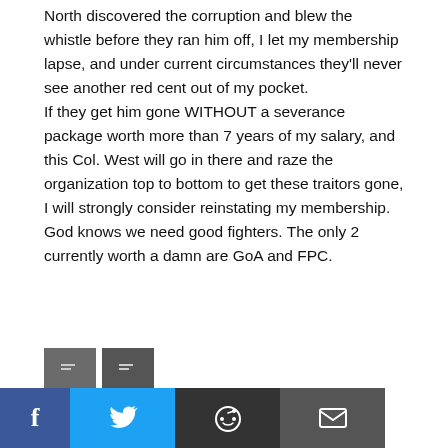North discovered the corruption and blew the whistle before they ran him off, I let my membership lapse, and under current circumstances they'll never see another red cent out of my pocket. If they get him gone WITHOUT a severance package worth more than 7 years of my salary, and this Col. West will go in there and raze the organization top to bottom to get these traitors gone, I will strongly consider reinstating my membership. God knows we need good fighters. The only 2 currently worth a damn are GoA and FPC.
[Figure (other): Two small gray social share count buttons]
[Figure (other): Social share bar with Facebook, Twitter, Reddit, and email icons]